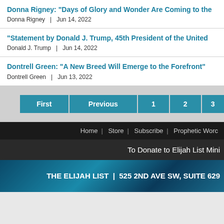Donna Rigney: "Days of Glory and Wonder Are Coming to the... | Donna Rigney | Jun 14, 2022
"Statement by Donald J. Trump, 45th President of the United... | Donald J. Trump | Jun 14, 2022
Dontrell Green: "A New Breed Will Emerge to the Forefront" | Dontrell Green | Jun 13, 2022
[Figure (screenshot): Pagination buttons: First, Previous, 1, 2, 3]
Home | Store | Subscribe | Prophetic Word...
To Donate to Elijah List Mini...
THE ELIJAH LIST | 525 2ND AVE SW, SUITE 629...